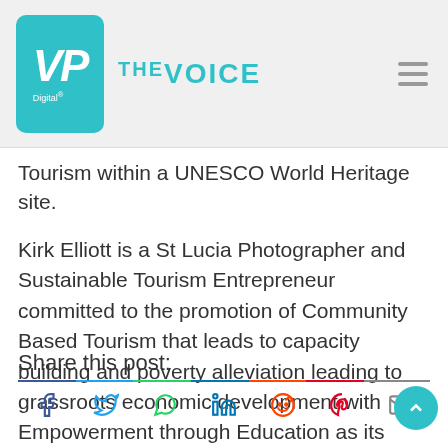VP Digital The Voice
Tourism within a UNESCO World Heritage site.
Kirk Elliott is a St Lucia Photographer and Sustainable Tourism Entrepreneur committed to the promotion of Community Based Tourism that leads to capacity building and poverty alleviation leading to grassroots economic development with Empowerment through Education as its overarching stimulus.
https://StLuciaPhotoTours.com
Share this post: